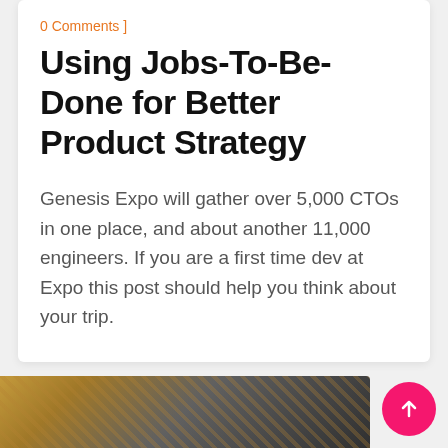0 Comments ]
Using Jobs-To-Be-Done for Better Product Strategy
Genesis Expo will gather over 5,000 CTOs in one place, and about another 11,000 engineers. If you are a first time dev at Expo this post should help you think about your trip.
[Figure (photo): Partial view of a decorative metallic or woven structure photographed from below, against a grey background.]